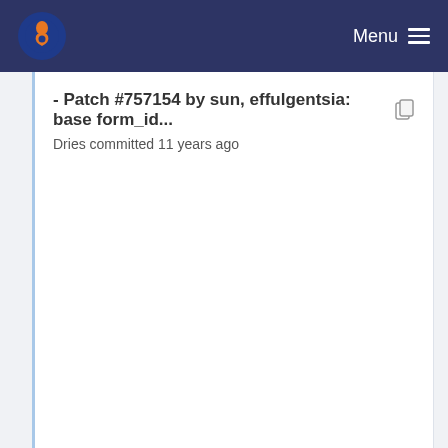Menu
- Patch #757154 by sun, effulgentsia: base form_id...
Dries committed 11 years ago